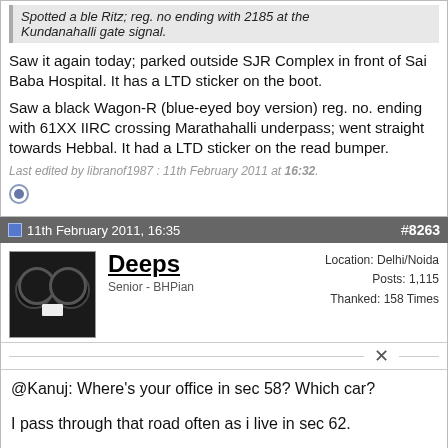Spotted a ble Ritz; reg. no ending with 2185 at the Kundanahalli gate signal.
Saw it again today; parked outside SJR Complex in front of Sai Baba Hospital. It has a LTD sticker on the boot.
Saw a black Wagon-R (blue-eyed boy version) reg. no. ending with 61XX IIRC crossing Marathahalli underpass; went straight towards Hebbal. It had a LTD sticker on the read bumper.
Last edited by libranof1987 : 11th February 2011 at 16:32.
11th February 2011, 16:35   #8263
Deeps
Senior - BHPian
Location: Delhi/Noida
Posts: 1,115
Thanked: 158 Times
@Kanuj: Where's your office in sec 58? Which car?
I pass through that road often as i live in sec 62.